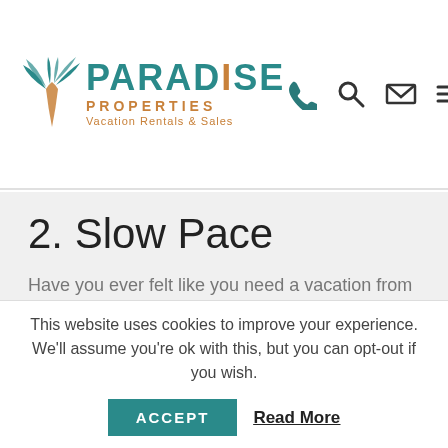Paradise Properties — Vacation Rentals & Sales logo with navigation icons
2. Slow Pace
Have you ever felt like you need a vacation from your vacation? Some of Florida's most popular summer vacation spots feature heavy traffic, long lines, and big crowds, which can be stressful. You don't have to worry about that on 30A. 30A is a peaceful area where you can feel comfortable relaxing and taking things at your own pace.
3. Unique Beach Towns
This website uses cookies to improve your experience. We'll assume you're ok with this, but you can opt-out if you wish.